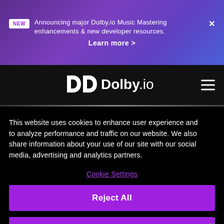NEW — Announcing major Dolby.io Music Mastering enhancements & new developer resources. Learn more >
[Figure (logo): Dolby.io logo with double-D icon in white on black navigation bar]
This website uses cookies to enhance user experience and to analyze performance and traffic on our website. We also share information about your use of our site with our social media, advertising and analytics partners.
Cookie Settings
Reject All
Accept Cookies